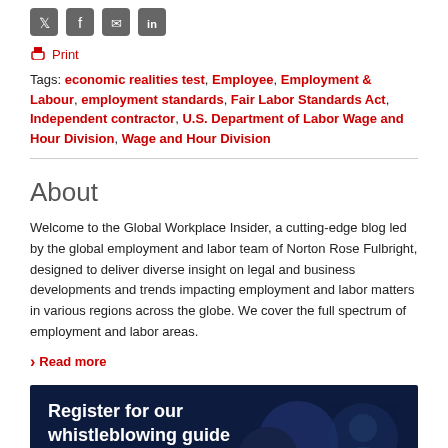[Figure (infographic): Social media share icons: Twitter, Facebook, Email, LinkedIn]
Print
Tags: economic realities test, Employee, Employment & Labour, employment standards, Fair Labor Standards Act, Independent contractor, U.S. Department of Labor Wage and Hour Division, Wage and Hour Division
About
Welcome to the Global Workplace Insider, a cutting-edge blog led by the global employment and labor team of Norton Rose Fulbright, designed to deliver diverse insight on legal and business developments and trends impacting employment and labor matters in various regions across the globe. We cover the full spectrum of employment and labor areas.
Read more
[Figure (illustration): Dark blue banner: Register for our whistleblowing guide]